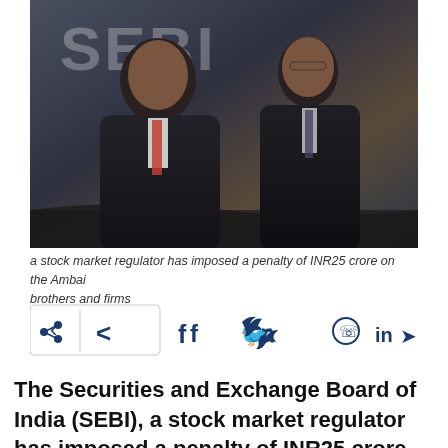[Figure (photo): Two men in dark suits at a formal event, background shows partial text/branding, a water bottle visible on table]
a stock market regulator has imposed a penalty of INR25 crore on the Ambai brothers and firms
[Figure (infographic): Social sharing bar with share icon, Facebook (f), Twitter (bird), WhatsApp, LinkedIn (in), and Telegram icons]
The Securities and Exchange Board of India (SEBI), a stock market regulator has imposed a penalty of INR25 crore on the Ambai brothers and firms